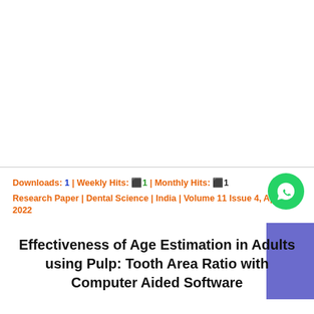Downloads: 1 | Weekly Hits: 1 | Monthly Hits: 1
Research Paper | Dental Science | India | Volume 11 Issue 4, April 2022
Effectiveness of Age Estimation in Adults using Pulp: Tooth Area Ratio with Computer Aided Software